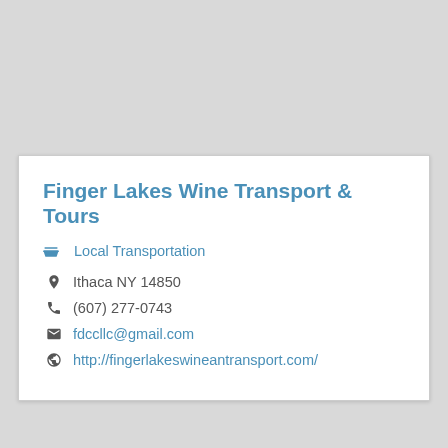Finger Lakes Wine Transport & Tours
Local Transportation
Ithaca NY 14850
(607) 277-0743
fdccllc@gmail.com
http://fingerlakeswineantransport.com/